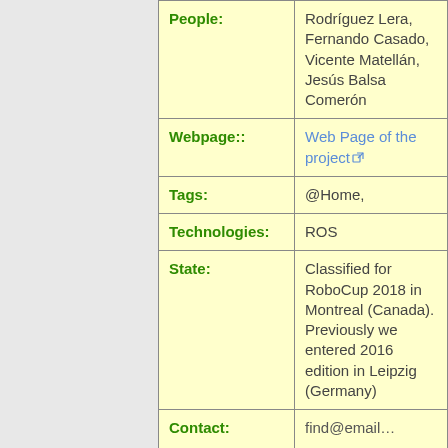| Field | Value |
| --- | --- |
| People: | Rodríguez Lera, Fernando Casado, Vicente Matellán, Jesús Balsa Comerón |
| Webpage:: | Web Page of the project |
| Tags: | @Home, |
| Technologies: | ROS |
| State: | Classified for RoboCup 2018 in Montreal (Canada). Previously we entered 2016 edition in Leipzig (Germany) |
| Contact: | find@email... |